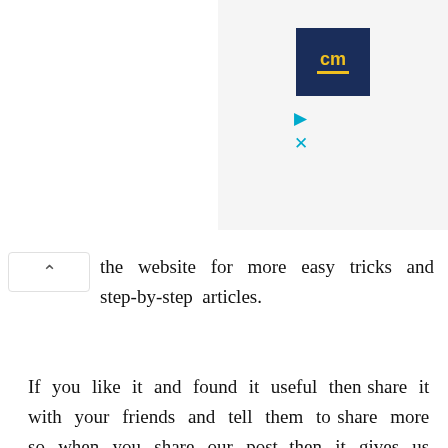[Figure (logo): CM logo with dark blue background and yellow text, with small play and close icons below]
the website for more easy tricks and step-by-step articles.
If you like it and found it useful then share it with your friends and tell them to share more so when you share our post, then it gives us the motivation to write more on various topics.
I hope we have cleared all your doubts about this topic but still, if you guys have